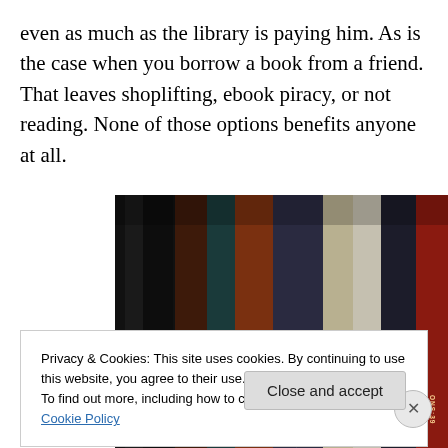even as much as the library is paying him. As is the case when you borrow a book from a friend. That leaves shoplifting, ebook piracy, or not reading. None of those options benefits anyone at all.
[Figure (photo): A photo of a bookshelf showing book spines at an angle, including titles such as Fever Crumb, Lords of Khalanodo, Hobbit, and others.]
Privacy & Cookies: This site uses cookies. By continuing to use this website, you agree to their use.
To find out more, including how to control cookies, see here: Cookie Policy